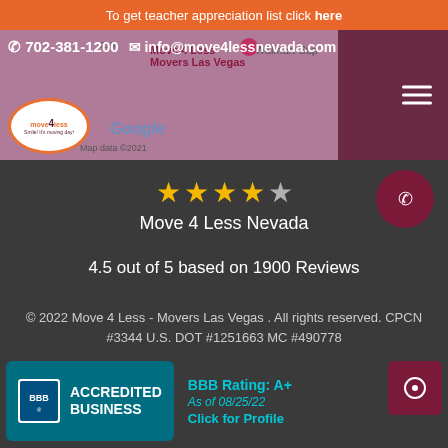To get teacher appreciation list click here
[Figure (screenshot): Website header with phone number 702-381-1200, email info@move4lessnevada.com, Move 4 Less logo, Google map background, and hamburger menu]
[Figure (infographic): 4.5 out of 5 stars rating for Move 4 Less Nevada with phone call button]
4.5 out of 5 based on 1900 Reviews
© 2022 Move 4 Less - Movers Las Vegas . All rights reserved. CPCN #3344 U.S. DOT #1251663 MC #490778
[Figure (logo): BBB Accredited Business badge with BBB Rating: A+ As of 08/25/22 Click for Profile]
Privacy · Terms